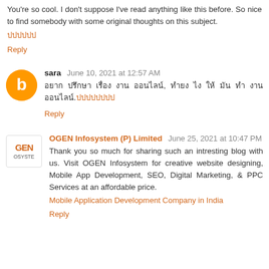You're so cool. I don't suppose I've read anything like this before. So nice to find somebody with some original thoughts on this subject.
ปปปปปป
Reply
sara June 10, 2021 at 12:57 AM
อยาก ปรึกษา เรื่อง งาน ออนไลน์, ทำยง ไง ให้ มัน ทำ งาน ออนไลน์.ปปปปปปปป
Reply
OGEN Infosystem (P) Limited June 25, 2021 at 10:47 PM
Thank you so much for sharing such an intresting blog with us. Visit OGEN Infosystem for creative website designing, Mobile App Development, SEO, Digital Marketing, & PPC Services at an affordable price.
Mobile Application Development Company in India
Reply